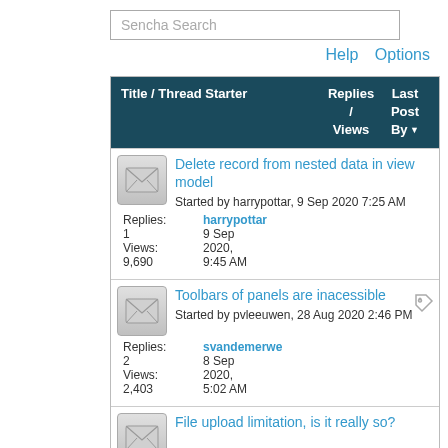Sencha Search
Help  Options
| Title / Thread Starter | Replies / Views | Last Post By |
| --- | --- | --- |
| Delete record from nested data in view model
Started by harrypottar, 9 Sep 2020 7:25 AM | 1
9,690 | harrypottar
9 Sep
2020,
9:45 AM |
| Toolbars of panels are inacessible
Started by pvleeuwen, 28 Aug 2020 2:46 PM | 2
2,403 | svandemerwe
8 Sep
2020,
5:02 AM |
| File upload limitation, is it really so? |  |  |